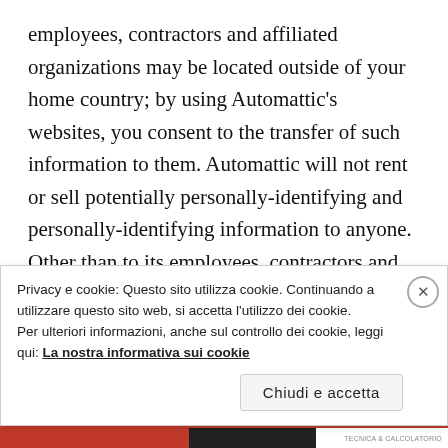employees, contractors and affiliated organizations may be located outside of your home country; by using Automattic's websites, you consent to the transfer of such information to them. Automattic will not rent or sell potentially personally-identifying and personally-identifying information to anyone. Other than to its employees, contractors and affiliated organizations, as described above, Automattic discloses potentially personally-identifying and personally-identifying information only in response to a subpoena, court order or other governmental request, or when Automattic believes in good faith that disclosure is
Privacy e cookie: Questo sito utilizza cookie. Continuando a utilizzare questo sito web, si accetta l'utilizzo dei cookie.
Per ulteriori informazioni, anche sul controllo dei cookie, leggi qui: La nostra informativa sui cookie
Chiudi e accetta